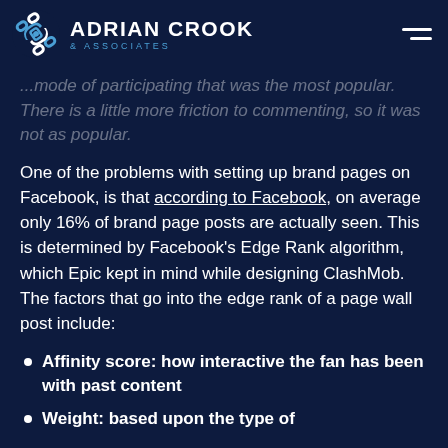ADRIAN CROOK & ASSOCIATES
...mode of participating that was the most popular. There is a little more friction to commenting, so it was not as popular.
One of the problems with setting up brand pages on Facebook, is that according to Facebook, on average only 16% of brand page posts are actually seen. This is determined by Facebook's Edge Rank algorithm, which Epic kept in mind while designing ClashMob. The factors that go into the edge rank of a page wall post include:
Affinity score: how interactive the fan has been with past content
Weight: based upon the type of